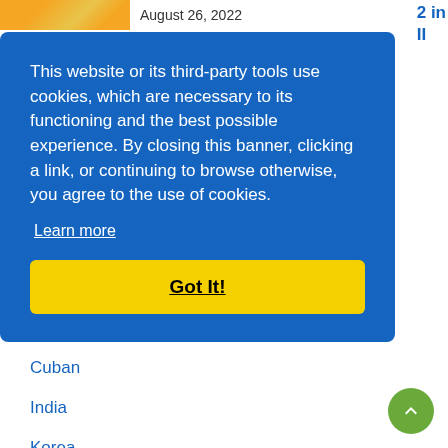August 26, 2022
2 in II
This website or its third-party tools use cookies, which are necessary to its functioning and the best possible experience. By closing this banner, clicking a link, or continuing to browse otherwise, you agree to the use of cookies.
Learn more
Got It!
Columbia
Cuban
India
Korea
MUA